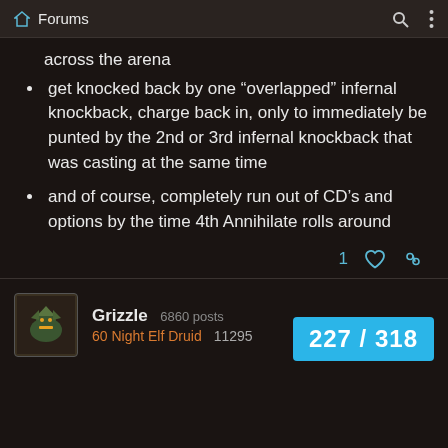Forums
across the arena
get knocked back by one “overlapped” infernal knockback, charge back in, only to immediately be punted by the 2nd or 3rd infernal knockback that was casting at the same time
and of course, completely run out of CD’s and options by the time 4th Annihilate rolls around
1 ♥ 🔗
Grizzle  6860 posts
60 Night Elf Druid  11295
227 / 318